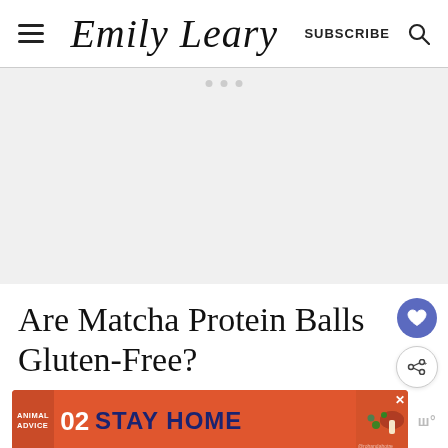Emily Leary | SUBSCRIBE
[Figure (other): Large blank advertisement placeholder area with light gray background and three small gray dots at the top center.]
Are Matcha Protein Balls Gluten-Free?
[Figure (infographic): Orange banner advertisement reading 'ANIMAL ADVICE 02 STAY HOME @rohandahotre' with cartoon mushroom illustration.]